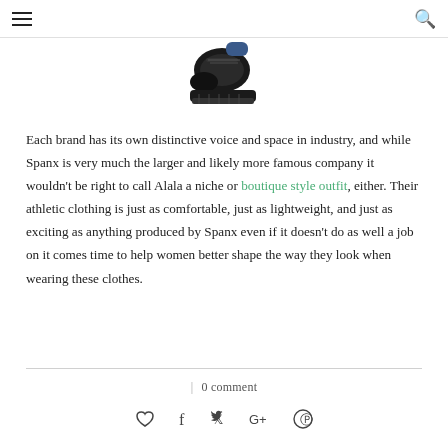≡   🔍
[Figure (photo): Bottom portion of a black athletic/sneaker shoe on white background, partially cropped]
Each brand has its own distinctive voice and space in industry, and while Spanx is very much the larger and likely more famous company it wouldn't be right to call Alala a niche or boutique style outfit, either. Their athletic clothing is just as comfortable, just as lightweight, and just as exciting as anything produced by Spanx even if it doesn't do as well a job on it comes time to help women better shape the way they look when wearing these clothes.
| 0 comment
♡  f  𝕏  G+  ⊕